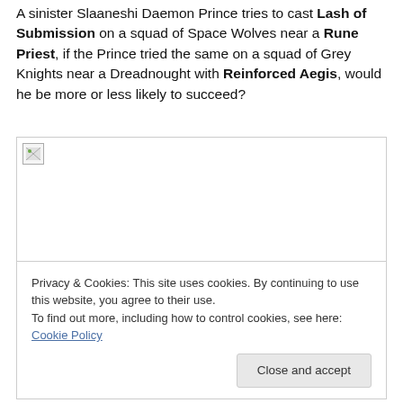A sinister Slaaneshi Daemon Prince tries to cast Lash of Submission on a squad of Space Wolves near a Rune Priest, if the Prince tried the same on a squad of Grey Knights near a Dreadnought with Reinforced Aegis, would he be more or less likely to succeed?
[Figure (photo): Broken/missing image placeholder with small icon in top-left corner]
Privacy & Cookies: This site uses cookies. By continuing to use this website, you agree to their use.
To find out more, including how to control cookies, see here: Cookie Policy